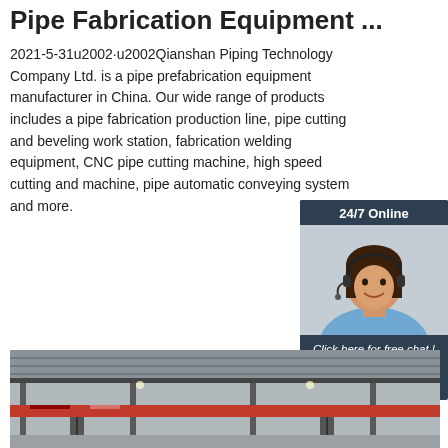Pipe Fabrication Equipment ...
2021-5-31u2002·u2002Qianshan Piping Technology Company Ltd. is a pipe prefabrication equipment manufacturer in China. Our wide range of products includes a pipe fabrication production line, pipe cutting and beveling work station, fabrication welding equipment, CNC pipe cutting machine, high speed cutting and machine, pipe automatic conveying system and more.
[Figure (other): Chat widget with '24/7 Online' label, photo of smiling woman with headset, 'Click here for free chat!' text, and orange QUOTATION button]
Get Price
[Figure (photo): Interior of industrial factory/warehouse showing steel roof structure, overhead crane beams, and red crane rails]